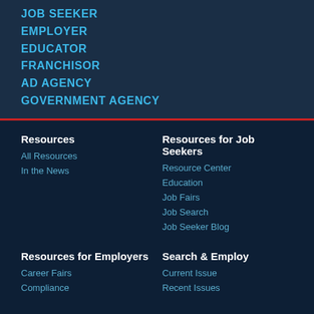JOB SEEKER
EMPLOYER
EDUCATOR
FRANCHISOR
AD AGENCY
GOVERNMENT AGENCY
Resources
All Resources
In the News
Resources for Job Seekers
Resource Center
Education
Job Fairs
Job Search
Job Seeker Blog
Resources for Employers
Career Fairs
Compliance
Search & Employ
Current Issue
Recent Issues